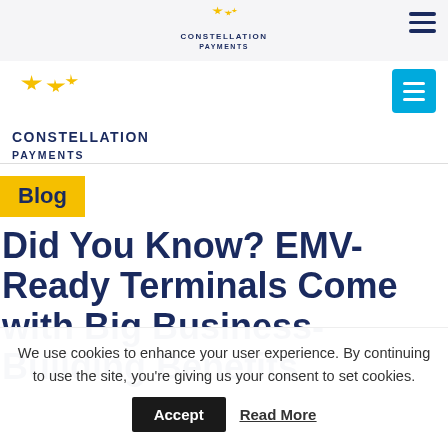[Figure (logo): Constellation Payments logo in top navigation bar — gold star cluster above bold navy text CONSTELLATION PAYMENTS]
[Figure (logo): Constellation Payments large logo on left of secondary header — gold star cluster with bold navy text CONSTELLATION PAYMENTS]
Blog
Did You Know? EMV-Ready Terminals Come with Big Business-Building Benefits
We use cookies to enhance your user experience. By continuing to use the site, you're giving us your consent to set cookies.